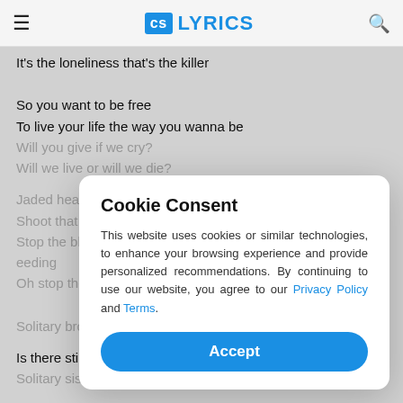CS LYRICS
It's the loneliness that's the killer
So you want to be free
To live your life the way you wanna be
Will you give if we cry?
Will we live or will we die?
Jaded hearts that motivate
Shoot that love so we can stop the bleeding
Stop the bleeding, stop the bleeding, oh stop the bleeding
Oh stop the bleeding
Solitary brother
Is there still a part of you that wants to live?
Solitary sister
Cookie Consent

This website uses cookies or similar technologies, to enhance your browsing experience and provide personalized recommendations. By continuing to use our website, you agree to our Privacy Policy and Terms.

Accept